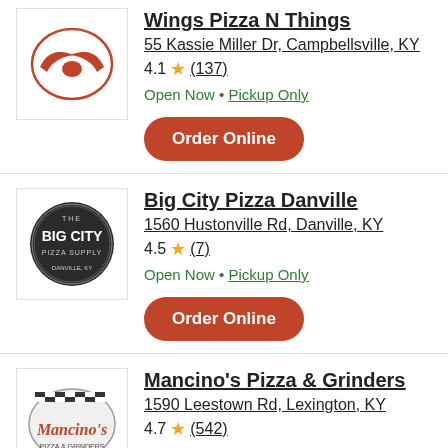[Figure (logo): Wings Pizza N Things restaurant logo with red graphic]
Wings Pizza N Things
55 Kassie Miller Dr, Campbellsville, KY
4.1 ★ (137)
Open Now • Pickup Only
Order Online
[Figure (logo): Big City Pizza circular black logo]
Big City Pizza Danville
1560 Hustonville Rd, Danville, KY
4.5 ★ (7)
Open Now • Pickup Only
Order Online
[Figure (logo): Mancino's Pizza & Grinders logo with checkered flag and red script]
Mancino's Pizza & Grinders
1590 Leestown Rd, Lexington, KY
4.7 ★ (542)
Open Now • Pickup Only